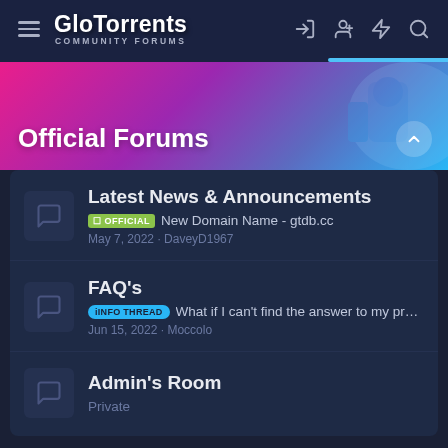GloTorrents COMMUNITY FORUMS
Official Forums
Latest News & Announcements
OFFICIAL New Domain Name - gtdb.cc
May 7, 2022 · DaveyD1967
FAQ's
iINFO THREAD What if I can't find the answer to my probl...
Jun 15, 2022 · Moccolo
Admin's Room
Private